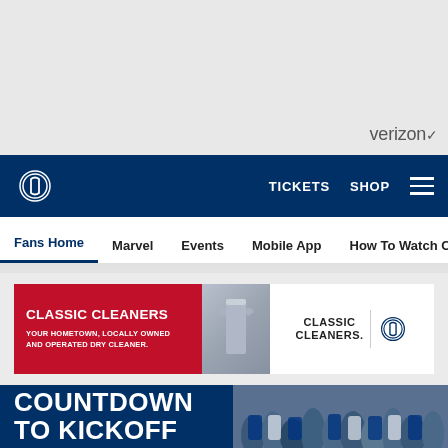[Figure (screenshot): Top gray advertisement space with Verizon logo in bottom right]
Indianapolis Colts navigation bar with logo, TICKETS, SHOP links and hamburger menu
Secondary navigation: Fans Home | Marvel | Events | Mobile App | How To Watch Colts G
[Figure (photo): Classic Cleaners advertisement banner — red left panel with 'CLASSIC CLEANERS YOUR HOMETOWN, LOCALLY OWNED AND OPERATED DRY CLEANER.' text; center panel with shirt photo; right white panel with Classic Cleaners logo and Indianapolis Colts horseshoe logo]
COUNTDOWN TO KICKOFF
[Figure (photo): Crowd of Indianapolis Colts fans in blue and white jerseys cheering]